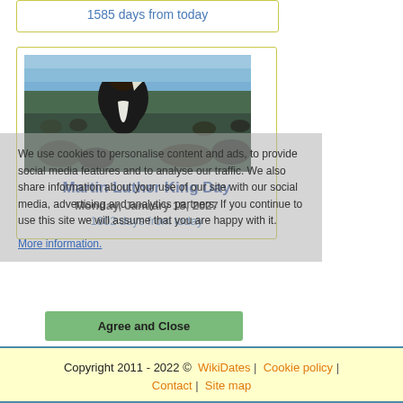1585 days from today
[Figure (photo): Photo of Martin Luther King Jr. waving to a crowd at a large outdoor gathering]
Martin Luther King Day
Monday, January 18, 2027
1602 days from today
We use cookies to personalise content and ads, to provide social media features and to analyse our traffic. We also share information about your use of our site with our social media, advertising and analytics partners. If you continue to use this site we will assume that you are happy with it.
More information.
Agree and Close
Copyright 2011 - 2022 © WikiDates | Cookie policy | Contact | Site map